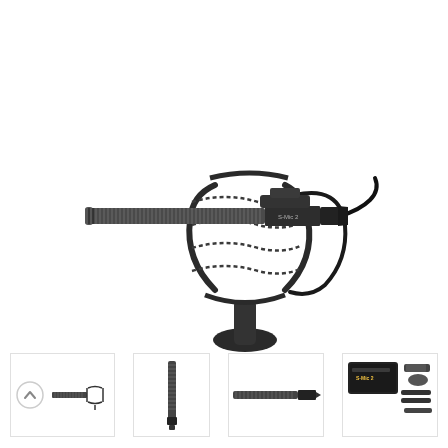[Figure (photo): Large shotgun microphone (labeled S-Mic 2) mounted in a suspension shock mount on a stand, viewed from the side. The microphone is a long cylindrical barrel with a mesh grille, attached to a black cradle shock mount. A cable exits the rear of the microphone body. The image is on a white background.]
[Figure (photo): Thumbnail image 1: Small circular navigation arrow (up chevron) button on the left, and a small image of the microphone with shock mount on the right.]
[Figure (photo): Thumbnail image 2: Vertical view of the microphone barrel, shown standing upright.]
[Figure (photo): Thumbnail image 3: Side profile of the microphone body alone, without the shock mount.]
[Figure (photo): Thumbnail image 4: Product kit view showing a carrying case, the microphone, and accessories laid out.]